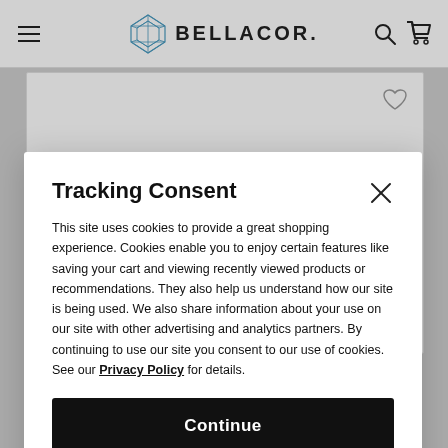[Figure (screenshot): Bellacor e-commerce website header with hamburger menu icon on the left, Bellacor logo with diamond icon in the center, and search and cart icons on the right. Below the header is a partial product listing page with a white product card showing a decorative item (appears to be a pendant or ornament), with a heart/wishlist icon in the top right of the card.]
Tracking Consent
This site uses cookies to provide a great shopping experience. Cookies enable you to enjoy certain features like saving your cart and viewing recently viewed products or recommendations. They also help us understand how our site is being used. We also share information about your use on our site with other advertising and analytics partners. By continuing to use our site you consent to our use of cookies. See our Privacy Policy for details.